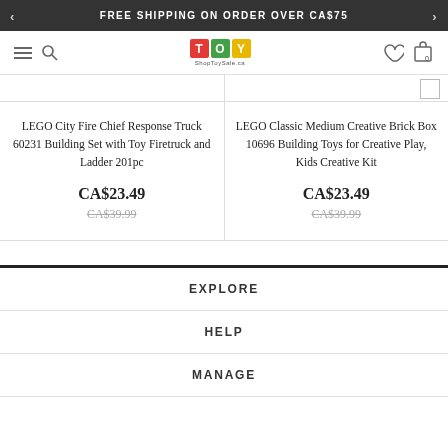FREE SHIPPING ON ORDER OVER CA$75
[Figure (logo): ShopToySale.ca logo with TOY spelled in colored blocks]
LEGO City Fire Chief Response Truck 60231 Building Set with Toy Firetruck and Ladder 201pc
CA$23.49
CA$39.99
LEGO Classic Medium Creative Brick Box 10696 Building Toys for Creative Play, Kids Creative Kit
CA$23.49
CA$39.99
EXPLORE
HELP
MANAGE